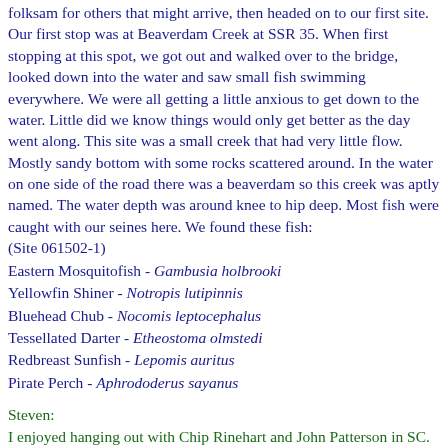folksam for others that might arrive, then headed on to our first site. Our first stop was at Beaverdam Creek at SSR 35. When first stopping at this spot, we got out and walked over to the bridge, looked down into the water and saw small fish swimming everywhere. We were all getting a little anxious to get down to the water. Little did we know things would only get better as the day went along. This site was a small creek that had very little flow. Mostly sandy bottom with some rocks scattered around. In the water on one side of the road there was a beaverdam so this creek was aptly named. The water depth was around knee to hip deep. Most fish were caught with our seines here. We found these fish:
(Site 061502-1)
Eastern Mosquitofish - Gambusia holbrooki
Yellowfin Shiner - Notropis lutipinnis
Bluehead Chub - Nocomis leptocephalus
Tessellated Darter - Etheostoma olmstedi
Redbreast Sunfish - Lepomis auritus
Pirate Perch - Aphrododerus sayanus
Steven:
I enjoyed hanging out with Chip Rinehart and John Patterson in SC. I've only known Chip for six months, but already we've collected in four different states together. I was meeting John for the first time. The weather was ideal, with temps in the upper 70s to low 80s, cloudless sky, and low humidity.